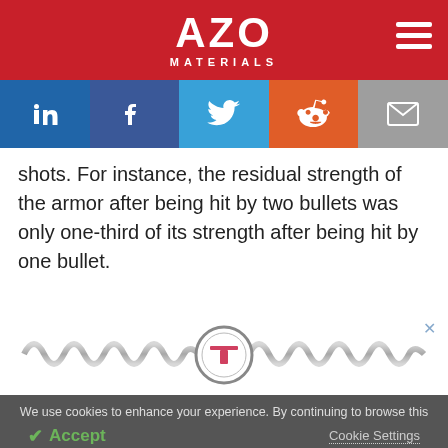AZO MATERIALS
[Figure (logo): AZO Materials logo with red background and hamburger menu icon]
[Figure (infographic): Social share bar with LinkedIn, Facebook, Twitter, Reddit, and Email icons]
shots. For instance, the residual strength of the armor after being hit by two bullets was only one-third of its strength after being hit by one bullet.
[Figure (illustration): Advertisement with a coil/spring graphic and a circular T logo in the center]
We use cookies to enhance your experience. By continuing to browse this site you agree to our use of cookies. More info.
✓ Accept   Cookie Settings